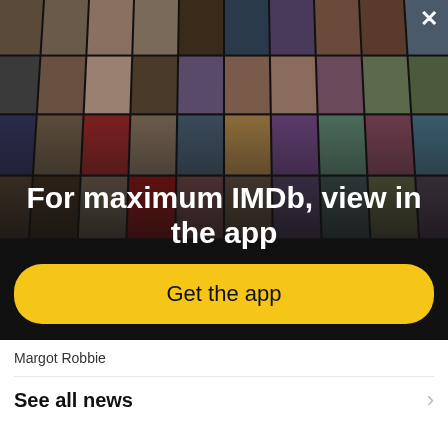[Figure (screenshot): IMDb app promotion overlay showing a collage of celebrity photos and movie posters arranged in a perspective grid on a dark background, with a close (X) button in the top right corner.]
For maximum IMDb, view in the app
Get the app
Margot Robbie
See all news